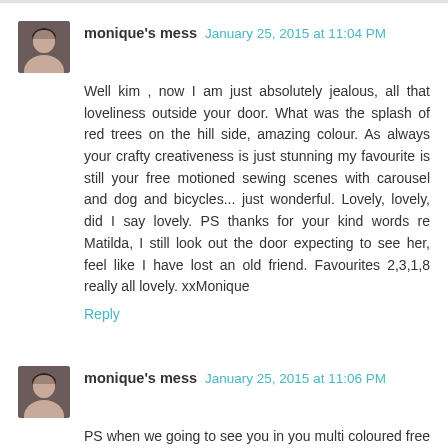monique's mess  January 25, 2015 at 11:04 PM
Well kim , now I am just absolutely jealous, all that loveliness outside your door. What was the splash of red trees on the hill side, amazing colour. As always your crafty creativeness is just stunning my favourite is still your free motioned sewing scenes with carousel and dog and bicycles... just wonderful. Lovely, lovely, did I say lovely. PS thanks for your kind words re Matilda, I still look out the door expecting to see her, feel like I have lost an old friend. Favourites 2,3,1,8 really all lovely. xxMonique
Reply
monique's mess  January 25, 2015 at 11:06 PM
PS when we going to see you in you multi coloured free style jumper, pretty jazzy stuff. Your upstyles camel coloured jacket - stunning xM
Reply